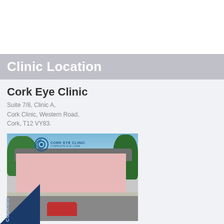Clinic Location
Cork Eye Clinic
Suite 7/8, Clinic A,
Cork Clinic, Western Road,
Cork, T12 VY83.
[Figure (photo): Exterior photograph of Cork Eye Clinic building — a pink two-storey building with the Cork Eye Clinic logo visible, trees in background, a red car in the foreground car park, stone wall and gate visible.]
Tel:  021 434 1030
Fax: 021 434 1033
Email: angelship@corkeyeclinic.ie